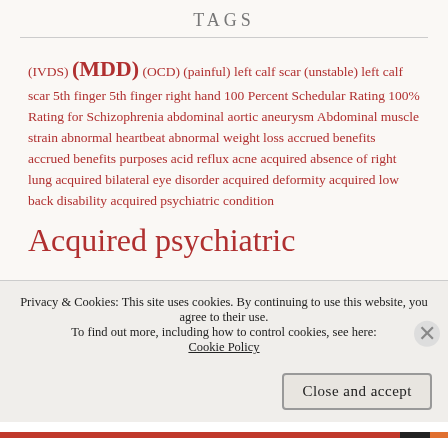TAGS
(IVDS) (MDD) (OCD) (painful) left calf scar (unstable) left calf scar 5th finger 5th finger right hand 100 Percent Schedular Rating 100% Rating for Schizophrenia abdominal aortic aneurysm Abdominal muscle strain abnormal heartbeat abnormal weight loss accrued benefits accrued benefits purposes acid reflux acne acquired absence of right lung acquired bilateral eye disorder acquired deformity acquired low back disability acquired psychiatric condition Acquired psychiatric disability acquired psychiatric disorder
Privacy & Cookies: This site uses cookies. By continuing to use this website, you agree to their use.
To find out more, including how to control cookies, see here: Cookie Policy
Close and accept